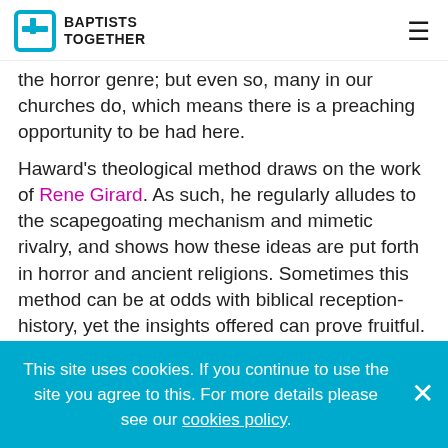BAPTISTS TOGETHER
the horror genre; but even so, many in our churches do, which means there is a preaching opportunity to be had here.
Haward's theological method draws on the work of Rene Girard. As such, he regularly alludes to the scapegoating mechanism and mimetic rivalry, and shows how these ideas are put forth in horror and ancient religions. Sometimes this method can be at odds with biblical reception-history, yet the insights offered can prove fruitful. Reading his interpretive conclusions alongside two or three good commentaries
This site uses cookies. If you continue to use the site you agree to this. For more details please see our cookies policy.